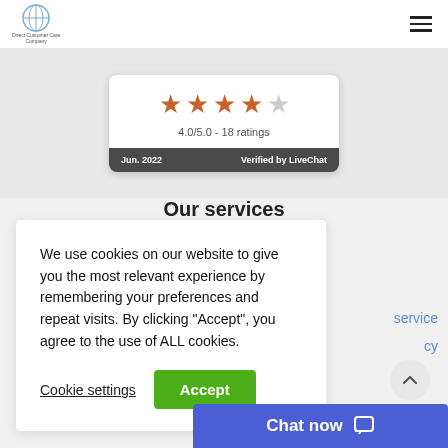Direct Customer Care Company
[Figure (other): Rating card showing 4 filled orange stars and 1 empty star, with text '4.0/5.0 - 18 ratings' and footer showing 'Jun. 2022  Verified by LiveChat' on dark background]
Our services
We use cookies on our website to give you the most relevant experience by remembering your preferences and repeat visits. By clicking “Accept”, you agree to the use of ALL cookies.
Cookie settings
Accept
Chat now